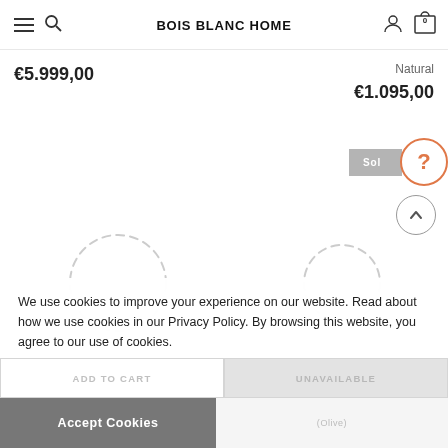BOIS BLANC HOME
€5.999,00
Natural
€1.095,00
[Figure (screenshot): Sold badge with grey background and orange help/question mark circle overlay]
[Figure (screenshot): Circular scroll-to-top button with upward chevron]
[Figure (illustration): Two dashed circle loading placeholders for product images]
We use cookies to improve your experience on our website. Read about how we use cookies in our Privacy Policy. By browsing this website, you agree to our use of cookies.
ADD TO CART
UNAVAILABLE
Accept Cookies